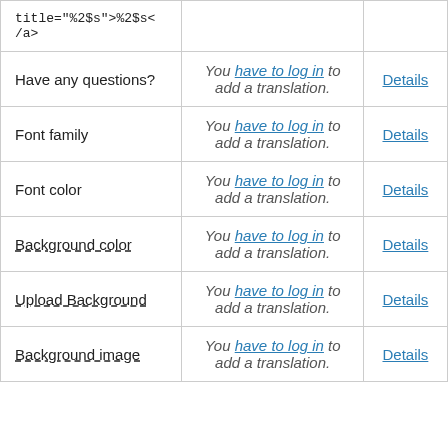|  |  |  |
| --- | --- | --- |
| title="%2$s">%2$s</a> |  |  |
| Have any questions? | You have to log in to add a translation. | Details |
| Font family | You have to log in to add a translation. | Details |
| Font color | You have to log in to add a translation. | Details |
| Background color | You have to log in to add a translation. | Details |
| Upload Background | You have to log in to add a translation. | Details |
| Background image | You have to log in to add a translation. | Details |